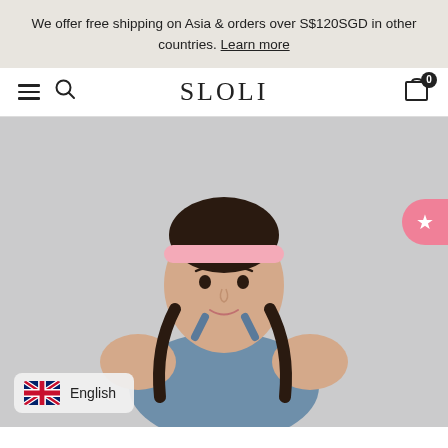We offer free shipping on Asia & orders over S$120SGD in other countries. Learn more
SLOLI
[Figure (photo): A young Asian woman wearing a blue sports bra and a pink headband with two braids, posing against a light grey background. She is smiling and has her hands on her hips. A pink wishlist/star button is partially visible on the right edge.]
English